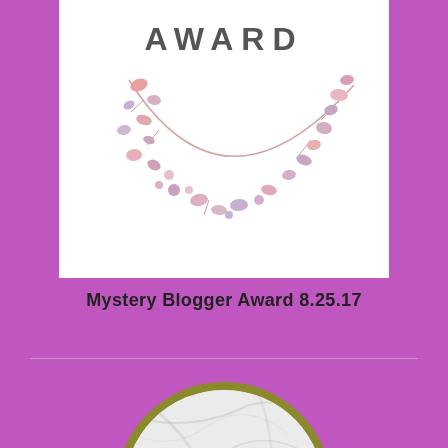[Figure (illustration): Mystery Blogger Award badge with decorative floral wreath on white background, text AWARD visible at top]
Mystery Blogger Award 8.25.17
[Figure (illustration): Circular badge with olive/gold border, marble texture background, bold text reading '30 Post Truth Challenge']